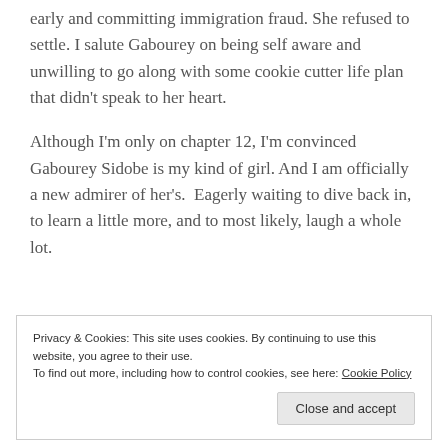early and committing immigration fraud. She refused to settle. I salute Gabourey on being self aware and unwilling to go along with some cookie cutter life plan that didn't speak to her heart.
Although I'm only on chapter 12, I'm convinced Gabourey Sidobe is my kind of girl. And I am officially a new admirer of her's.  Eagerly waiting to dive back in, to learn a little more, and to most likely, laugh a whole lot.
Privacy & Cookies: This site uses cookies. By continuing to use this website, you agree to their use. To find out more, including how to control cookies, see here: Cookie Policy